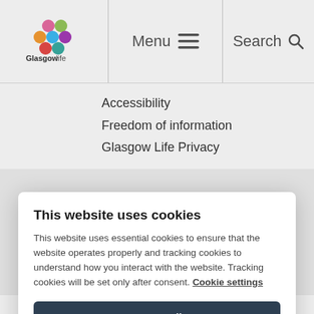[Figure (logo): GlasgowLife logo with colorful circular dots and text 'Glasgowlife']
Menu  Search
Accessibility
Freedom of information
Glasgow Life Privacy
This website uses cookies
This website uses essential cookies to ensure that the website operates properly and tracking cookies to understand how you interact with the website. Tracking cookies will be set only after consent. Cookie settings
Accept all
Reject all
stockdevelopment@glasgowlife.org.uk